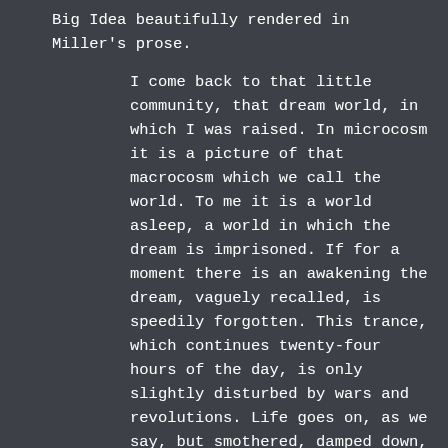Big Idea beautifully rendered in Miller's prose.
I come back to that little community, that dream world, in which I was raised. In microcosm it is a picture of that macrocosm which we call the world. To me it is a world asleep, a world in which the dream is imprisoned. If for a moment there is an awakening the dream, vaguely recalled, is speedily forgotten. This trance, which continues twenty-four hours of the day, is only slightly disturbed by wars and revolutions. Life goes on, as we say, but smothered, damped down, hidden away in the vegetative fibres of our being. Real awareness comes inter-mittently, in brief flashes of a second's duration. The man who can hold it for a minute, relatively speaking, inevitably changes the whole trend of the world. In the span of ten or twenty thousand years a few widely isolated individuals have striven to break the deadlock, shatter the